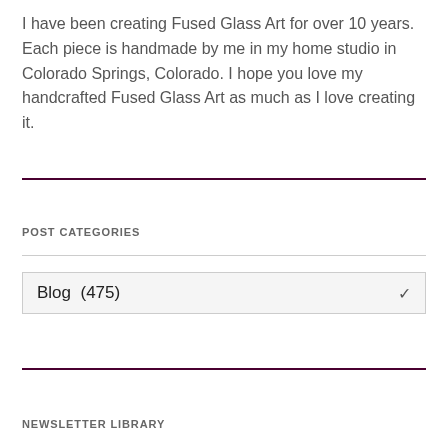I have been creating Fused Glass Art for over 10 years. Each piece is handmade by me in my home studio in Colorado Springs, Colorado. I hope you love my handcrafted Fused Glass Art as much as I love creating it.
POST CATEGORIES
Blog  (475)
NEWSLETTER LIBRARY